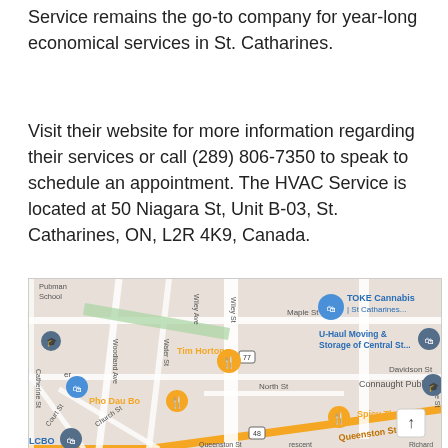Service remains the go-to company for year-long economical services in St. Catharines.
Visit their website for more information regarding their services or call (289) 806-7350 to speak to schedule an appointment. The HVAC Service is located at 50 Niagara St, Unit B-03, St. Catharines, ON, L2R 4K9, Canada.
[Figure (map): Google Maps screenshot showing the area around 50 Niagara St, St. Catharines, ON. Notable landmarks visible include Tim Hortons, Pho Dau Bo, TOKE Cannabis St Catharines, U-Haul Moving & Storage of Central St., Connaught Public School, Spicy Thai, LCBO, and street labels including Queenston St, Davidson St, North St, Maple St, Woodland Ave, Water St, Church St, Catherine St, Prince St, and highway markers 77 and 48.]